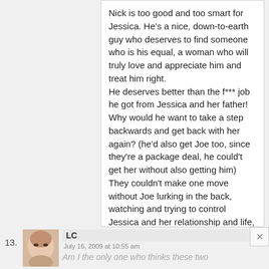Nick is too good and too smart for Jessica. He's a nice, down-to-earth guy who deserves to find someone who is his equal, a woman who will truly love and appreciate him and treat him right.

He deserves better than the f*** job he got from Jessica and her father! Why would he want to take a step backwards and get back with her again? (he'd also get Joe too, since they're a package deal, he could't get her without also getting him) They couldn't make one move without Joe lurking in the back, watching and trying to control Jessica and her relationship and life, like he did before.
13.
[Figure (photo): Small avatar/profile photo of user LC, showing partial face]
LC
July 16, 2009 at 10:55 am
Am I the only one who thinks these two